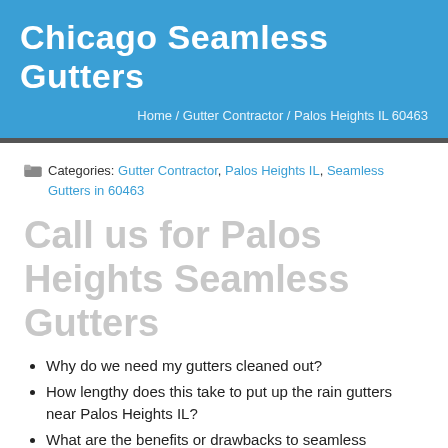Chicago Seamless Gutters
Home / Gutter Contractor / Palos Heights IL 60463
Categories: Gutter Contractor, Palos Heights IL, Seamless Gutters in 60463
Call us for Palos Heights Seamless Gutters
Why do we need my gutters cleaned out?
How lengthy does this take to put up the rain gutters near Palos Heights IL?
What are the benefits or drawbacks to seamless gutters?
If you have issues on greatest seamless gutters systems close to Palos Heights, Illinois?
How do seamless gutters differ from sectional gutters near Palos Heights, Illinois?